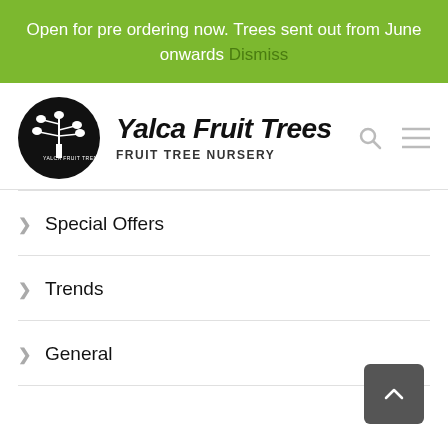Open for pre ordering now. Trees sent out from June onwards Dismiss
Yalca Fruit Trees FRUIT TREE NURSERY
Special Offers
Trends
General